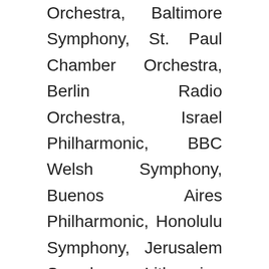Orchestra, Baltimore Symphony, St. Paul Chamber Orchestra, Berlin Radio Orchestra, Israel Philharmonic, BBC Welsh Symphony, Buenos Aires Philharmonic, Honolulu Symphony, Jerusalem Symphony, Lithuanian Chamber Orchestra, I Solisti Zagreb, and Taipei and Seoul symphonies, among others. He has been a guest at Aspen, Bowdoin, Chautauqua, Marlboro, Yale at Norfolk, Round Top (TX), Great Lakes, and Grand Canyon festivals, Finland Festival, Great Wall (China), Leicester (England), Ottawa, Bordeaux (France),